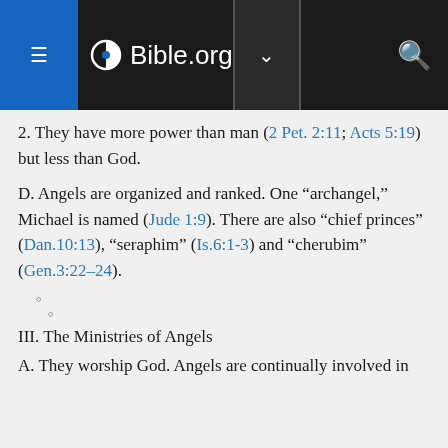Bible.org
2. They have more power than man (2 Pet. 2:11; Acts 5:19) but less than God.
D. Angels are organized and ranked. One “archangel,” Michael is named (Jude 1:9). There are also “chief princes” (Dan.10:13), “seraphim” (Is.6:1-3) and “cherubim” (Gen.3:22-24).
III. The Ministries of Angels
A. They worship God. Angels are continually involved in